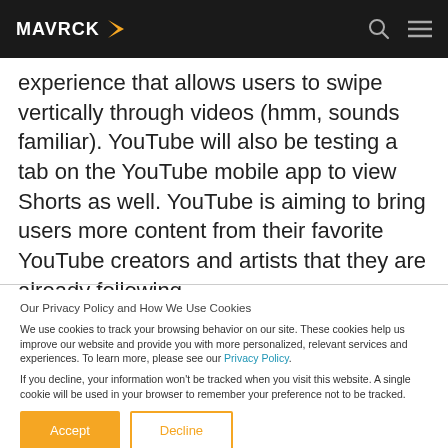MAVRCK
experience that allows users to swipe vertically through videos (hmm, sounds familiar). YouTube will also be testing a tab on the YouTube mobile app to view Shorts as well. YouTube is aiming to bring users more content from their favorite YouTube creators and artists that they are already following.
Our Privacy Policy and How We Use Cookies
We use cookies to track your browsing behavior on our site. These cookies help us improve our website and provide you with more personalized, relevant services and experiences. To learn more, please see our Privacy Policy.
If you decline, your information won't be tracked when you visit this website. A single cookie will be used in your browser to remember your preference not to be tracked.